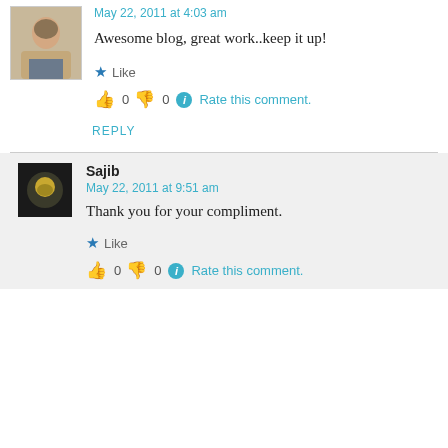May 22, 2011 at 4:03 am
Awesome blog, great work..keep it up!
★ Like
👍 0 👎 0 ℹ Rate this comment.
REPLY
Sajib
May 22, 2011 at 9:51 am
Thank you for your compliment.
★ Like
👍 0 👎 0 ℹ Rate this comment.